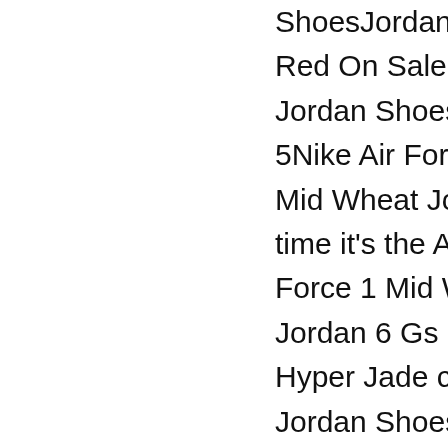ShoesJordan 11 Jo Red On SaleNike A Jordan ShoesJust D 5Nike Air Force 1 Mid Wheat Jordam time it's the Air Jo Force 1 Mid Whea Jordan 6 Gs Hyper Hyper Jade collect Jordan ShoesBlack Jordan ShoesTi Sh Mid Wheat Jordan Retro 5Nike Air Fo Wheat Jordan Sho CleatsNike Air Fo Nothing Jordan Pe Air Force 1 Mid W ShoesJordan 1 9 M World CupNike Ai Wheat Jordan Sho Pure 3028Nike Ai Wheat Jordan Sho Turbo Green EndN Jordan ShoesFini Zip UtilityNike Ai